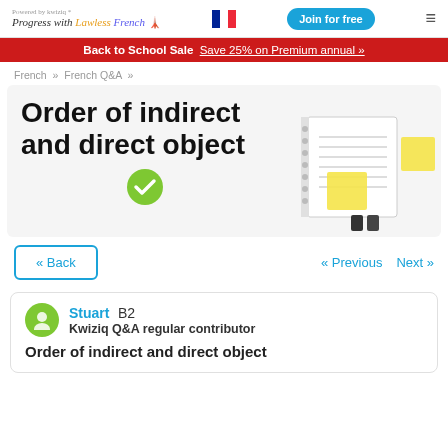Progress with Lawless French | Join for free
Back to School Sale   Save 25% on Premium annual »
French » French Q&A »
Order of indirect and direct object
[Figure (illustration): Green checkmark circle icon with a notebook, sticky notes and binder clips illustration]
« Back   « Previous   Next »
Stuart  B2
Kwiziq Q&A regular contributor
Order of indirect and direct object